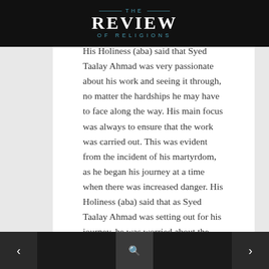THE REVIEW OF RELIGIONS
Martyrdom
His Holiness (aba) said that Syed Taalay Ahmad was very passionate about his work and seeing it through, no matter the hardships he may have to face along the way. His main focus was always to ensure that the work was carried out. This was evident from the incident of his martyrdom, as he began his journey at a time when there was increased danger. His Holiness (aba) said that as Syed Taalay Ahmad was setting out for his journey, he was worried about the video files that he had recorded and wanted to ensure that the files would not be corrupted, thus he began working on his laptop while on the